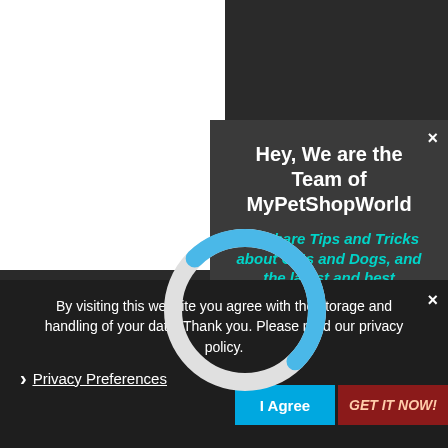Hey, We are the Team of MyPetShopWorld
We share Tips and Tricks about Cats and Dogs, and the latest and best discounts on Products. We also give this to your eMail.
[Figure (illustration): Circular loading/progress graphic with white and blue arc on dark background, overlapping both popups]
By visiting this website you agree with the storage and handling of your data. Thank you. Please read our privacy policy.
First Name
Privacy Preferences
I Agree
GET IT NOW!